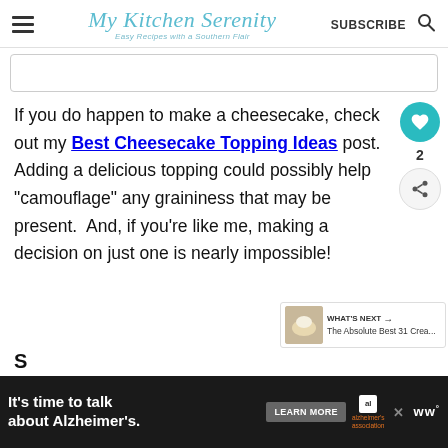My Kitchen Serenity — Easy Recipes with a Southern Flair | SUBSCRIBE
[Figure (other): Empty advertisement placeholder box]
If you do happen to make a cheesecake, check out my Best Cheesecake Topping Ideas post.  Adding a delicious topping could possibly help "camouflage" any graininess that may be present.  And, if you're like me, making a decision on just one is nearly impossible!
S
[Figure (other): Bottom advertisement banner: It's time to talk about Alzheimer's. LEARN MORE. Alzheimer's Association logo. WW logo.]